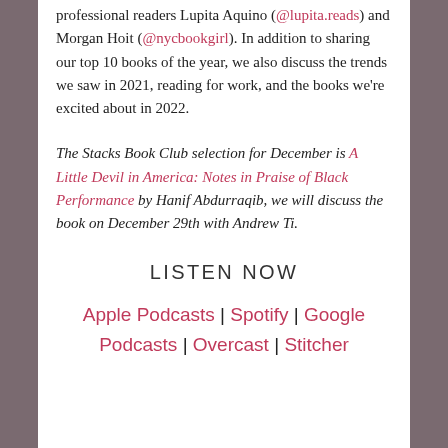professional readers Lupita Aquino (@lupita.reads) and Morgan Hoit (@nycbookgirl). In addition to sharing our top 10 books of the year, we also discuss the trends we saw in 2021, reading for work, and the books we're excited about in 2022.
The Stacks Book Club selection for December is A Little Devil in America: Notes in Praise of Black Performance by Hanif Abdurraqib, we will discuss the book on December 29th with Andrew Ti.
LISTEN NOW
Apple Podcasts | Spotify | Google Podcasts | Overcast | Stitcher